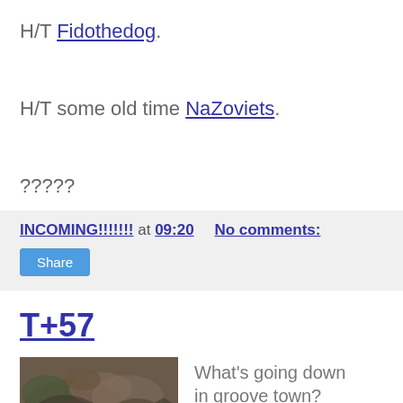H/T Fidothedog.
H/T some old time NaZoviets.
?????
INCOMING!!!!!!! at 09:20   No comments:
Share
T+57
[Figure (photo): Photo of what appears to be animals or creatures, brown and earthy tones]
What's going down in groove town?